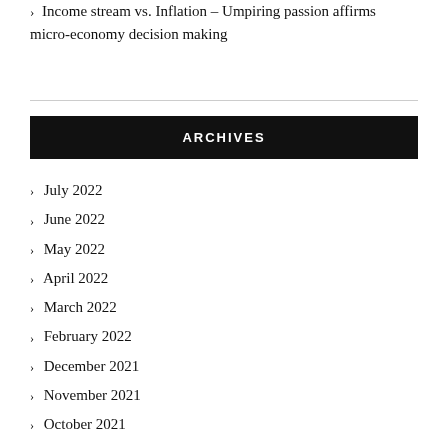Income stream vs. Inflation – Umpiring passion affirms micro-economy decision making
ARCHIVES
July 2022
June 2022
May 2022
April 2022
March 2022
February 2022
December 2021
November 2021
October 2021